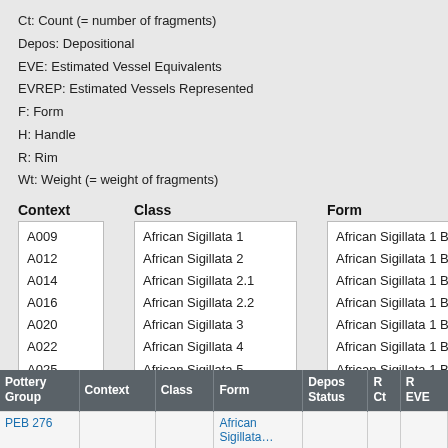Ct: Count (= number of fragments)
Depos: Depositional
EVE: Estimated Vessel Equivalents
EVREP: Estimated Vessels Represented
F: Form
H: Handle
R: Rim
Wt: Weight (= weight of fragments)
| Context | Class | Form |
| --- | --- | --- |
| A009 | African Sigillata 1 | African Sigillata 1 Base 1 |
| A012 | African Sigillata 2 | African Sigillata 1 Base 2 |
| A014 | African Sigillata 2.1 | African Sigillata 1 Base 3 |
| A016 | African Sigillata 2.2 | African Sigillata 1 Base 4 |
| A020 | African Sigillata 3 | African Sigillata 1 Base 5 |
| A022 | African Sigillata 4 | African Sigillata 1 Base 6 |
| A025 | African Sigillata 5 | African Sigillata 1 Body 1 |
| A033 | African Sigillata 6 | African Sigillata 1 Body 2 |
| Pottery Group | Context | Class | Form | Depos Status | R Ct | R EVE |
| --- | --- | --- | --- | --- | --- | --- |
| PEB 276 |  |  | African Sigillata … |  |  |  |